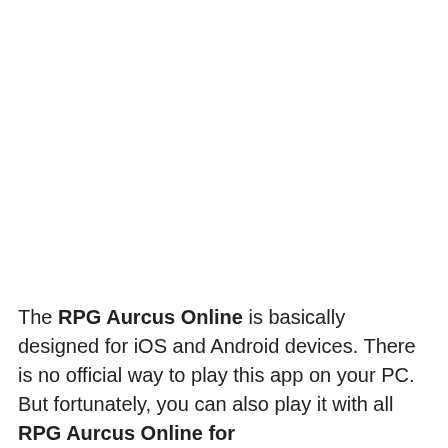The RPG Aurcus Online is basically designed for iOS and Android devices. There is no official way to play this app on your PC. But fortunately, you can also play it with all RPG Aurcus Online for